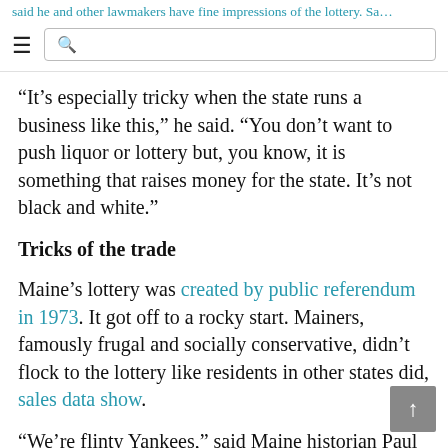said he and other lawmakers have fine impressions of the lottery. Sa...
“It’s especially tricky when the state runs a business like this,” he said. “You don’t want to push liquor or lottery but, you know, it is something that raises money for the state. It’s not black and white.”
Tricks of the trade
Maine’s lottery was created by public referendum in 1973. It got off to a rocky start. Mainers, famously frugal and socially conservative, didn’t flock to the lottery like residents in other states did, sales data show.
“We’re flinty Yankees,” said Maine historian Paul Mills. “Gambling really wasn’t part of our heritage.”
That didn’t sit well with the game’s early promoters, who deemed the rate of play in some towns “unacceptable,” and set out to take “corrective action.” according to a 1976 audit.